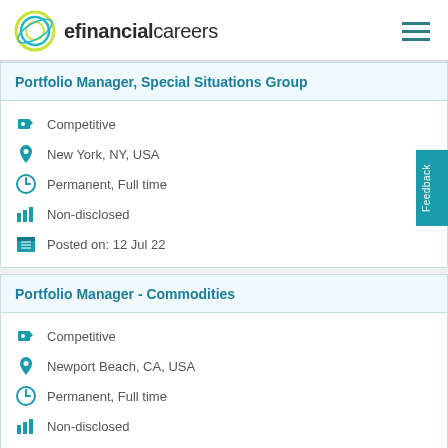efinancialcareers
Portfolio Manager, Special Situations Group
Competitive
New York, NY, USA
Permanent, Full time
Non-disclosed
Posted on:  12 Jul 22
Portfolio Manager - Commodities
Competitive
Newport Beach, CA, USA
Permanent, Full time
Non-disclosed
Posted on:  12 Jul 22